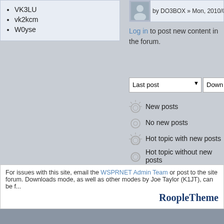VK3LU
vk2kcm
W0yse
by DO3BOX » Mon, 2010/09...
Log in to post new content in the forum.
[Figure (screenshot): Sort dropdown controls: Last post, Down, and a button]
New posts
No new posts
Hot topic with new posts
Hot topic without new posts
Sticky topic
Locked topic
For issues with this site, email the WSPRNET Admin Team or post to the site forum. Downloads mode, as well as other modes by Joe Taylor (K1JT), can be f... RoopleTheme